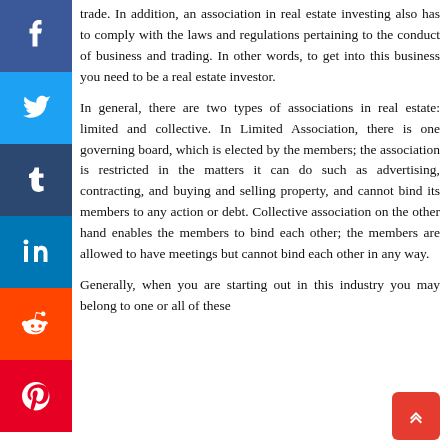trade. In addition, an association in real estate investing also has to comply with the laws and regulations pertaining to the conduct of business and trading. In other words, to get into this business you need to be a real estate investor.
In general, there are two types of associations in real estate: limited and collective. In Limited Association, there is one governing board, which is elected by the members; the association is restricted in the matters it can do such as advertising, contracting, and buying and selling property, and cannot bind its members to any action or debt. Collective association on the other hand enables the members to bind each other; the members are allowed to have meetings but cannot bind each other in any way.
Generally, when you are starting out in this industry you may belong to one or all of these